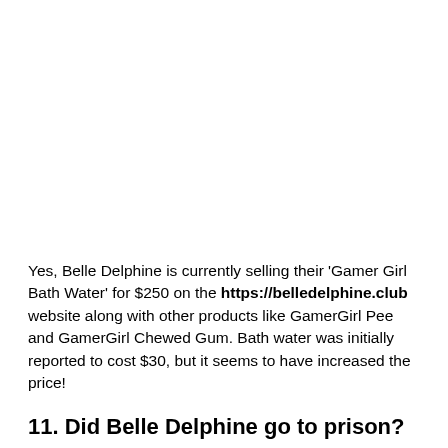Yes, Belle Delphine is currently selling their 'Gamer Girl Bath Water' for $250 on the https://belledelphine.club website along with other products like GamerGirl Pee and GamerGirl Chewed Gum. Bath water was initially reported to cost $30, but it seems to have increased the price!
11. Did Belle Delphine go to prison?